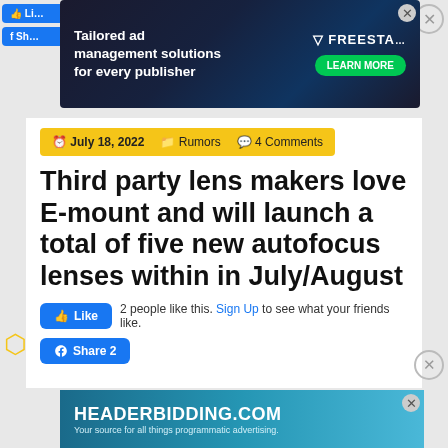[Figure (screenshot): Advertisement banner for Freestar: 'Tailored ad management solutions for every publisher' with dark space-themed background and green Learn More button]
July 18, 2022   Rumors   4 Comments
Third party lens makers love E-mount and will launch a total of five new autofocus lenses within in July/August
2 people like this. Sign Up to see what your friends like.
[Figure (screenshot): HEADERBIDDING.COM advertisement banner. 'Your source for all things programmatic advertising.']